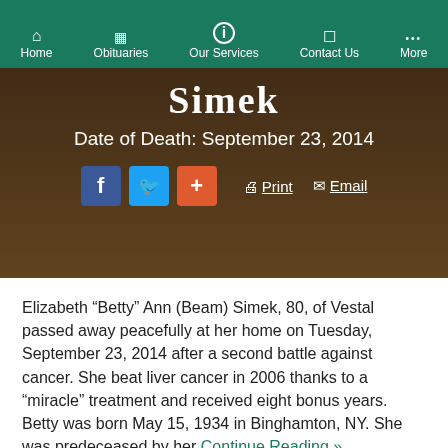Home | Obituaries | Our Services | Contact Us | More
Simek
Date of Death: September 23, 2014
[Figure (screenshot): Social sharing buttons: Facebook (blue), Twitter (blue), Plus (orange-red), Print link, Email link]
Elizabeth “Betty” Ann (Beam) Simek, 80, of Vestal passed away peacefully at her home on Tuesday, September 23, 2014 after a second battle against cancer. She beat liver cancer in 2006 thanks to a “miracle” treatment and received eight bonus years. Betty was born May 15, 1934 in Binghamton, NY. She was predeceased by her Continue Reading »